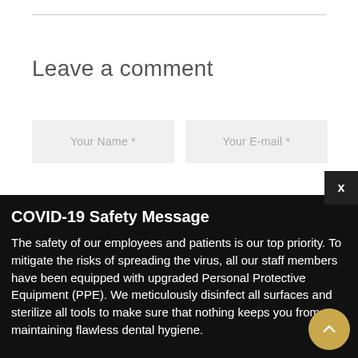Leave a comment
[Figure (screenshot): Web form with two input fields: 'Your Name *' and 'Your E-mail *' on a light grey background]
COVID-19 Safety Message
The safety of our employees and patients is our top priority. To mitigate the risks of spreading the virus, all our staff members have been equipped with upgraded Personal Protective Equipment (PPE). We meticulously disinfect all surfaces and sterilize all tools to make sure that nothing keeps you from maintaining flawless dental hygiene.